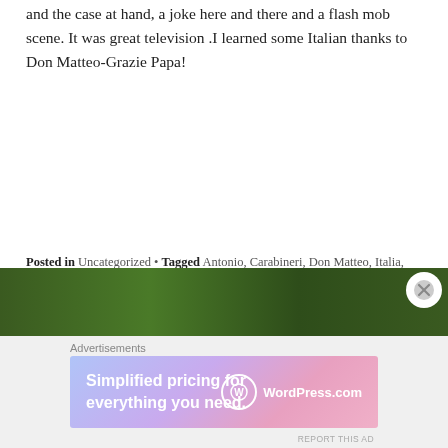and the case at hand, a joke here and there and a flash mob scene. It was great television .I learned some Italian thanks to Don Matteo-Grazie Papa!
Posted in Uncategorized • Tagged Antonio, Carabineri, Don Matteo, Italia, Italian Names, Italian tan, Italy, Matlock, Murder She Wrote, Papa, Priest, Wholesome • 4 Comments
[Figure (photo): Green nature/grass background banner image]
[Figure (screenshot): WordPress.com advertisement banner: 'Simplified pricing for everything you need.' with WordPress.com logo]